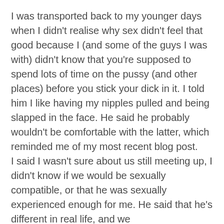I was transported back to my younger days when I didn't realise why sex didn't feel that good because I (and some of the guys I was with) didn't know that you're supposed to spend lots of time on the pussy (and other places) before you stick your dick in it. I told him I like having my nipples pulled and being slapped in the face. He said he probably wouldn't be comfortable with the latter, which reminded me of my most recent blog post.
I said I wasn't sure about us still meeting up, I didn't know if we would be sexually compatible, or that he was sexually experienced enough for me. He said that he's different in real life, and we